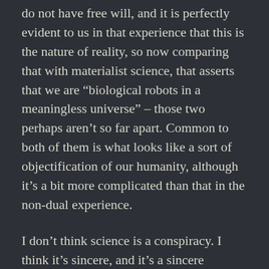do not have free will, and it is perfectly evident to us in that experience that this is the nature of reality, so now comparing that with materialist science, that asserts that we are "biological robots in a meaningless universe" – those two perhaps aren't so far apart. Common to both of them is what looks like a sort of objectification of our humanity, although it's a bit more complicated than that in the non-dual experience.
I don't think science is a conspiracy. I think it's sincere, and it's a sincere adherence to what is, in comparison to the non-dual experience, a kind of crappy version of it. It's got all of the objectivity but none of the transcendence.